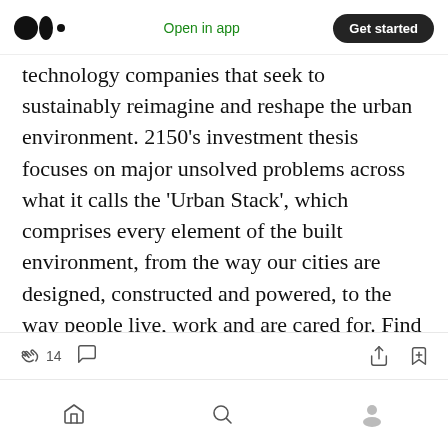Medium logo | Open in app | Get started
technology companies that seek to sustainably reimagine and reshape the urban environment. 2150’s investment thesis focuses on major unsolved problems across what it calls the ‘Urban Stack’, which comprises every element of the built environment, from the way our cities are designed, constructed and powered, to the way people live, work and are cared for. Find out more at www.2150.vc
14 claps, comment, share, bookmark | Home, Search, Profile navigation